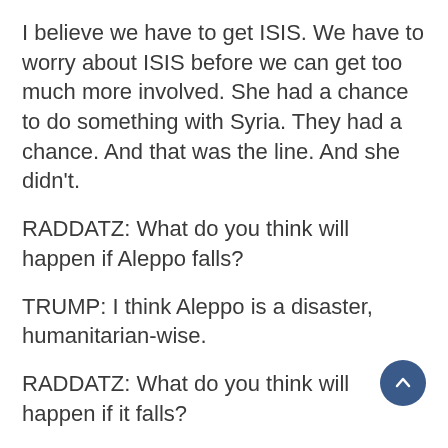I believe we have to get ISIS. We have to worry about ISIS before we can get too much more involved. She had a chance to do something with Syria. They had a chance. And that was the line. And she didn't.
RADDATZ: What do you think will happen if Aleppo falls?
TRUMP: I think Aleppo is a disaster, humanitarian-wise.
RADDATZ: What do you think will happen if it falls?
TRUMP: I think that it basically has fallen. OK? It basically has fallen. Let me tell you something. You take a look at Mosul. The biggest problem I have with the stupidity of our foreign policy, we have Mosul. They think a lot of the ISIS leaders are in Mosul. we have announcements coming out of Washington